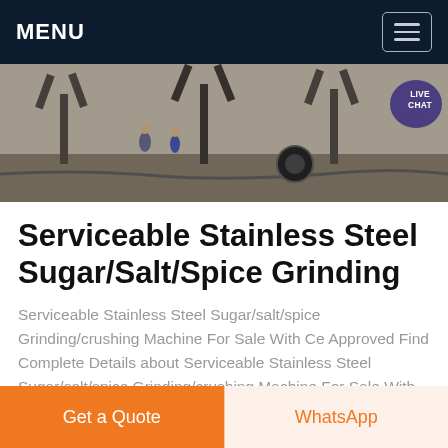MENU
[Figure (photo): Industrial machinery/equipment scene with workers and large metal Y-shaped structural frames outdoors. Live Chat badge visible in top right corner.]
Serviceable Stainless Steel Sugar/Salt/Spice Grinding
Serviceable Stainless Steel Sugar/salt/spice Grinding/crushing Machine For Sale With Ce Approved Find Complete Details about Serviceable Stainless Steel Sugar/salt/spice Grinding/crushing Machine For Sale With Ce Approved Stainless Steel Sugar/salt/spice Grinding/crushing Machine Rice Grinding Machine Mini
Get a Quote
WhatsApp